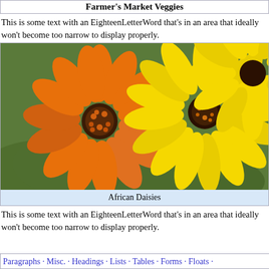Farmer's Market Veggies
This is some text with an EighteenLetterWord that's in an area that ideally won't become too narrow to display properly.
[Figure (photo): Close-up photo of orange and yellow African daisy flowers against a green background.]
African Daisies
This is some text with an EighteenLetterWord that's in an area that ideally won't become too narrow to display properly.
Paragraphs · Misc. · Headings · Lists · Tables · Forms · Floats ·